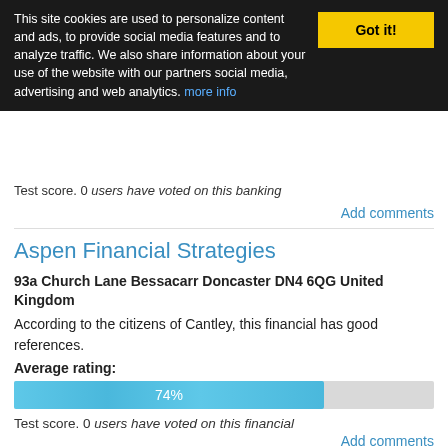This site cookies are used to personalize content and ads, to provide social media features and to analyze traffic. We also share information about your use of the website with our partners social media, advertising and web analytics. more info
Got it!
Test score. 0 users have voted on this banking
Add comments
Aspen Financial Strategies
93a Church Lane Bessacarr Doncaster DN4 6QG United Kingdom
According to the citizens of Cantley, this financial has good references.
Average rating:
[Figure (bar-chart): Average rating bar]
Test score. 0 users have voted on this financial
Add comments
GFS Mortgage Bank...